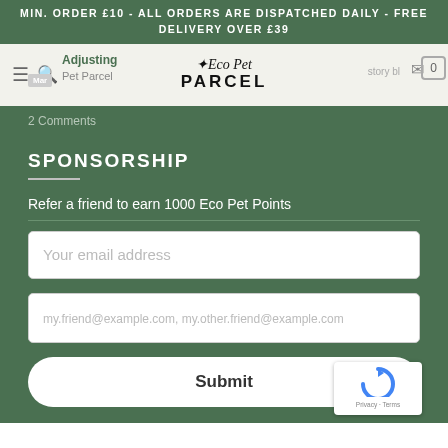MIN. ORDER £10 - ALL ORDERS ARE DISPATCHED DAILY - FREE DELIVERY OVER £39
[Figure (logo): Eco Pet Parcel logo with italic script and bold caps]
2 Comments
SPONSORSHIP
Refer a friend to earn 1000 Eco Pet Points
Your email address
my.friend@example.com, my.other.friend@example.com
Submit